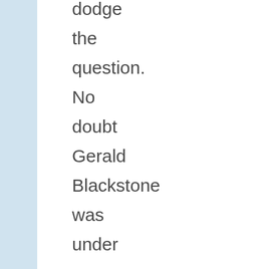dodge the question. No doubt Gerald Blackstone was under pressure from corporate to show a division year end profit to be rolled into